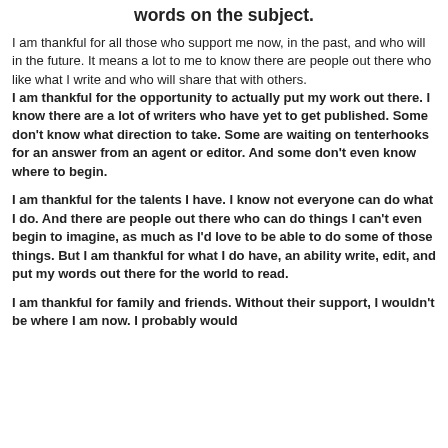words on the subject.
I am thankful for all those who support me now, in the past, and who will in the future. It means a lot to me to know there are people out there who like what I write and who will share that with others. I am thankful for the opportunity to actually put my work out there. I know there are a lot of writers who have yet to get published. Some don't know what direction to take. Some are waiting on tenterhooks for an answer from an agent or editor. And some don't even know where to begin.
I am thankful for the talents I have. I know not everyone can do what I do. And there are people out there who can do things I can't even begin to imagine, as much as I'd love to be able to do some of those things. But I am thankful for what I do have, an ability write, edit, and put my words out there for the world to read.
I am thankful for family and friends. Without their support, I wouldn't be where I am now. I probably would